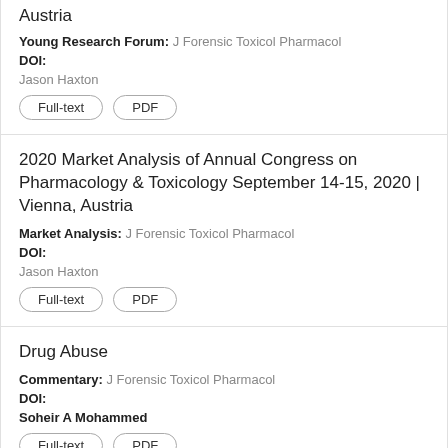Austria
Young Research Forum: J Forensic Toxicol Pharmacol
DOI:
Jason Haxton
Full-text  PDF
2020 Market Analysis of Annual Congress on Pharmacology & Toxicology September 14-15, 2020 | Vienna, Austria
Market Analysis: J Forensic Toxicol Pharmacol
DOI:
Jason Haxton
Full-text  PDF
Drug Abuse
Commentary: J Forensic Toxicol Pharmacol
DOI:
Soheir A Mohammed
Full-text  PDF